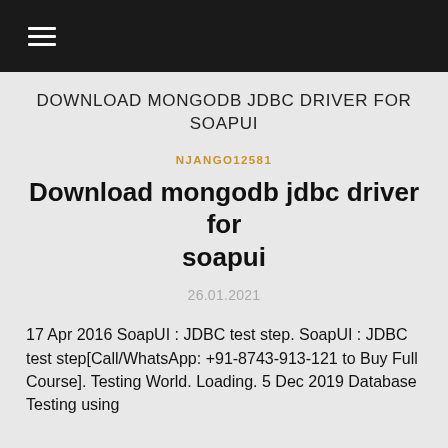≡
DOWNLOAD MONGODB JDBC DRIVER FOR SOAPUI
NJANGO12581
Download mongodb jdbc driver for soapui
26.01.2021
17 Apr 2016 SoapUI : JDBC test step. SoapUI : JDBC test step[Call/WhatsApp: +91-8743-913-121 to Buy Full Course]. Testing World. Loading. 5 Dec 2019 Database Testing using